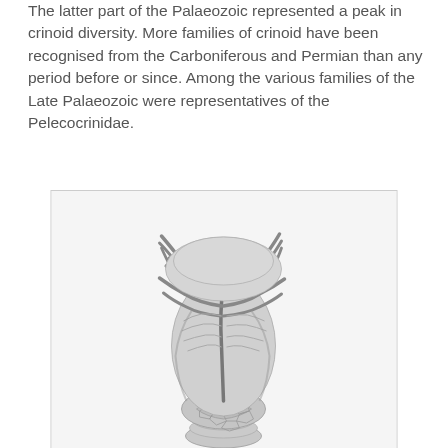The latter part of the Palaeozoic represented a peak in crinoid diversity. More families of crinoid have been recognised from the Carboniferous and Permian than any period before or since. Among the various families of the Late Palaeozoic were representatives of the Pelecocrinidae.
[Figure (photo): Black and white photograph of a crinoid fossil specimen showing the calyx with arms folded upward, displaying detailed plate structure and brachioles. The specimen appears to be a Pelecocrinidae from the Late Palaeozoic era.]